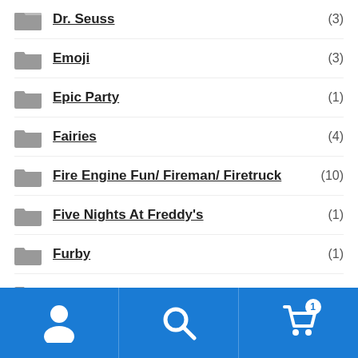Dr. Seuss (3)
Emoji (3)
Epic Party (1)
Fairies (4)
Fire Engine Fun/ Fireman/ Firetruck (10)
Five Nights At Freddy's (1)
Furby (1)
Garden Girl (39)
General Birthday (128)
G-Force (2)
G. I. Joe (2)